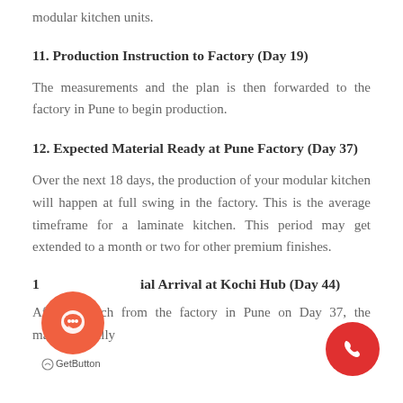modular kitchen units.
11. Production Instruction to Factory (Day 19)
The measurements and the plan is then forwarded to the factory in Pune to begin production.
12. Expected Material Ready at Pune Factory (Day 37)
Over the next 18 days, the production of your modular kitchen will happen at full swing in the factory. This is the average timeframe for a laminate kitchen. This period may get extended to a month or two for other premium finishes.
13. Material Arrival at Kochi Hub (Day 44)
After dispatch from the factory in Pune on Day 37, the material finally